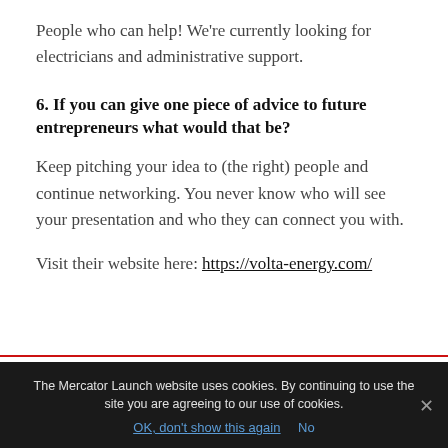People who can help! We're currently looking for electricians and administrative support.
6. If you can give one piece of advice to future entrepreneurs what would that be?
Keep pitching your idea to (the right) people and continue networking. You never know who will see your presentation and who they can connect you with.
Visit their website here: https://volta-energy.com/
The Mercator Launch website uses cookies. By continuing to use the site you are agreeing to our use of cookies.
OK, don't show this again   No